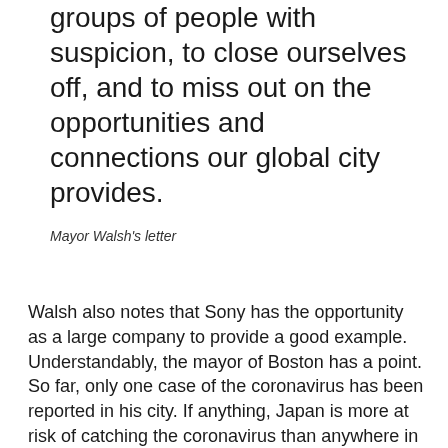groups of people with suspicion, to close ourselves off, and to miss out on the opportunities and connections our global city provides.
Mayor Walsh's letter
Walsh also notes that Sony has the opportunity as a large company to provide a good example. Understandably, the mayor of Boston has a point. So far, only one case of the coronavirus has been reported in his city. If anything, Japan is more at risk of catching the coronavirus than anywhere in America.